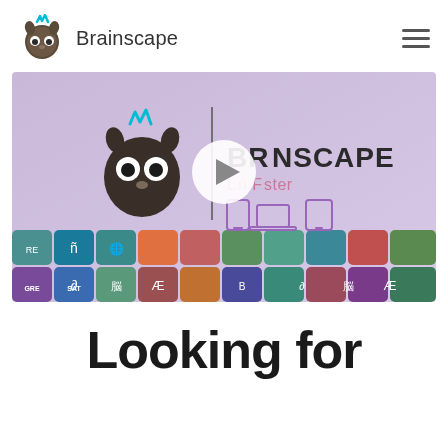Brainscape
[Figure (screenshot): Brainscape video thumbnail with play button, showing the Brainscape logo and 'Learn Faster' tagline with device icons, and a colorful grid of subject app icons at the bottom]
Looking for